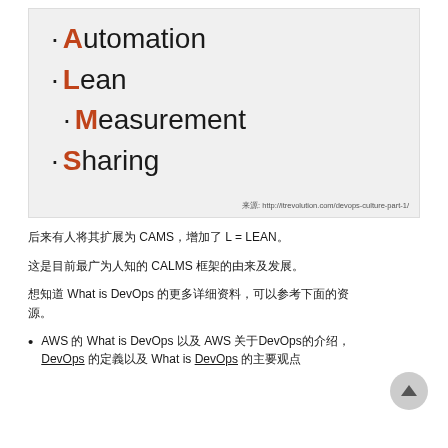· Automation
· Lean
· Measurement
· Sharing
来源: http://itrevolution.com/devops-culture-part-1/
后来有人将其扩展为 CAMS，增加了 L = LEAN。
这是目前最广为人知的 CALMS 框架的由来及发展。
想知道 What is DevOps 的更多详细资料，可以参考下面的资源。
AWS 的 What is DevOps 以及 AWS 关于DevOps的介绍，DevOps 的定義以及 What is DevOps 的主要观点